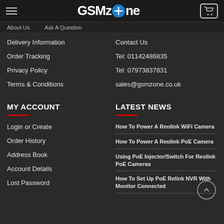GSMzone
About Us
Ask A Question
Delivery Information
Order Tracking
Privacy Policy
Terms & Conditions
Contact Us
Tel: 01142486835
Tel: 07973837831
sales@gsmzone.co.uk
MY ACCOUNT
LATEST NEWS
Login or Create
Order History
Address Book
Account Details
Lost Password
How To Power A Reolink WiFi Camera
How To Power A Reolink PoE Camera
Using PoE Injector/Switch For Reolink PoE Cameras
How To Set Up PoE Relink NVR With Monitor Connected